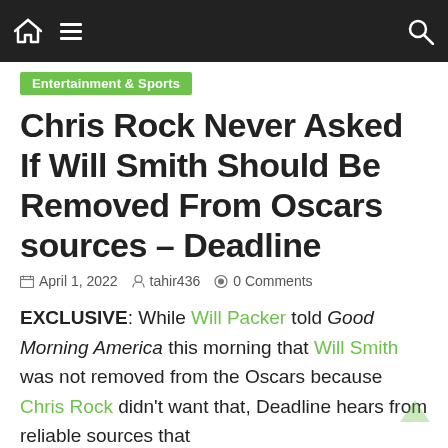Navigation bar with home icon, hamburger menu, and search icon
Entertainment & Sports
Chris Rock Never Asked If Will Smith Should Be Removed From Oscars sources – Deadline
April 1, 2022  tahir436  0 Comments
EXCLUSIVE: While Will Packer told Good Morning America this morning that Will Smith was not removed from the Oscars because Chris Rock didn't want that, Deadline hears from reliable sources that